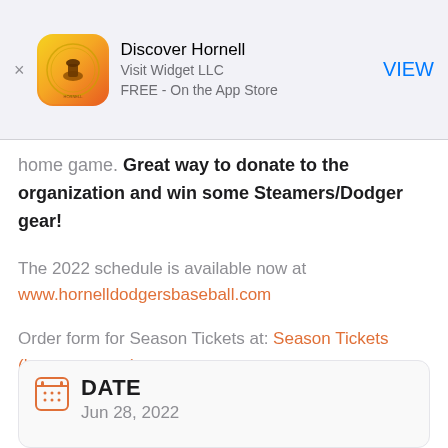[Figure (screenshot): App Store banner for 'Discover Hornell' app by Visit Widget LLC, FREE on the App Store, with a VIEW button]
home game. Great way to donate to the organization and win some Steamers/Dodger gear!
The 2022 schedule is available now at www.hornelldodgersbaseball.com
Order form for Season Tickets at: Season Tickets (htosports.com)
DATE
Jun 28, 2022